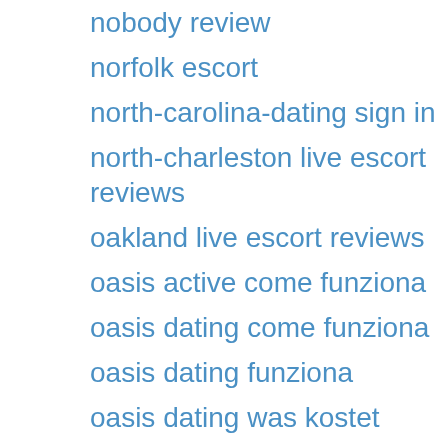nobody review
norfolk escort
north-carolina-dating sign in
north-charleston live escort reviews
oakland live escort reviews
oasis active come funziona
oasis dating come funziona
oasis dating funziona
oasis dating was kostet
oasis dating web
oasis-active-recenze Recenze
oceanside escort sites
odessa live escort reviews
oh sugar daddy website
ohlala inscription